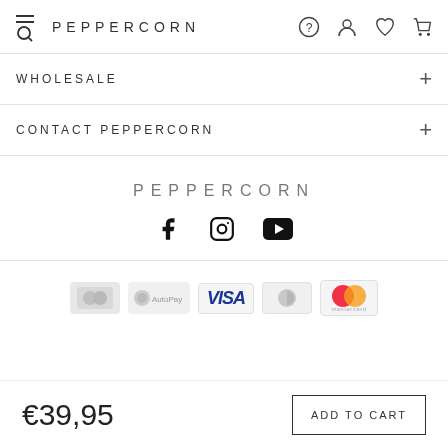PEPPERCORN
WHOLESALE
CONTACT PEPPERCORN
PEPPERCORN
[Figure (logo): Social media icons: Facebook, Instagram, YouTube]
[Figure (other): Payment method logos: generic cards, AutoPay, VISA, and Mastercard]
€39,95
ADD TO CART